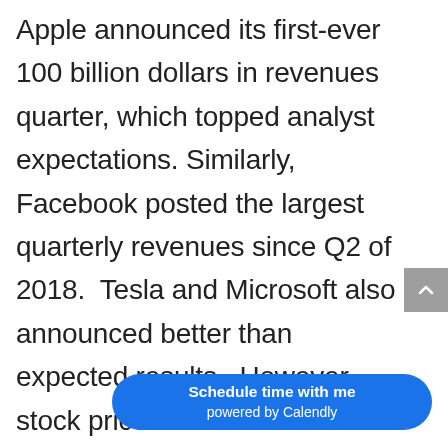Apple announced its first-ever 100 billion dollars in revenues quarter, which topped analyst expectations. Similarly, Facebook posted the largest quarterly revenues since Q2 of 2018. Tesla and Microsoft also announced better than expected results. However, stock prices fell for all these issues post earning except for Microsoft in what seems to be a situation where the better than expected results had already been priced into th